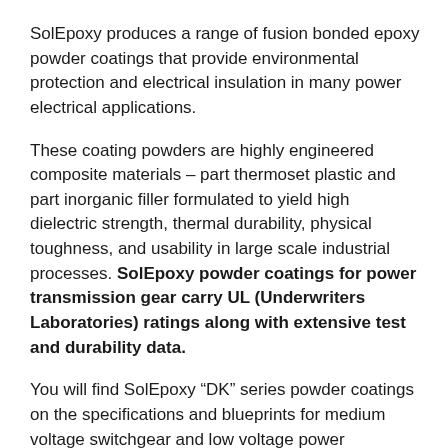SolEpoxy produces a range of fusion bonded epoxy powder coatings that provide environmental protection and electrical insulation in many power electrical applications.
These coating powders are highly engineered composite materials – part thermoset plastic and part inorganic filler formulated to yield high dielectric strength, thermal durability, physical toughness, and usability in large scale industrial processes. SolEpoxy powder coatings for power transmission gear carry UL (Underwriters Laboratories) ratings along with extensive test and durability data.
You will find SolEpoxy “DK” series powder coatings on the specifications and blueprints for medium voltage switchgear and low voltage power transmission busway produced by most of the world’s largest electrical equipment manufacturers. That’s because SolEpoxy’s predecessor, Hysol Corporation, invented this category of materials.